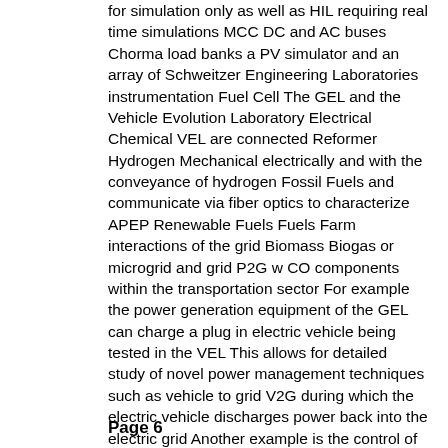for simulation only as well as HIL requiring real time simulations MCC DC and AC buses Chorma load banks a PV simulator and an array of Schweitzer Engineering Laboratories instrumentation Fuel Cell The GEL and the Vehicle Evolution Laboratory Electrical Chemical VEL are connected Reformer Hydrogen Mechanical electrically and with the conveyance of hydrogen Fossil Fuels and communicate via fiber optics to characterize APEP Renewable Fuels Fuels Farm interactions of the grid Biomass Biogas or microgrid and grid P2G w CO components within the transportation sector For example the power generation equipment of the GEL can charge a plug in electric vehicle being tested in the VEL This allows for detailed study of novel power management techniques such as vehicle to grid V2G during which the electric vehicle discharges power back into the electric grid Another example is the control of charging vehicles G2V with smart algorithms in order to protect electrical equipment such as transformers FC 2 P5
Page 6